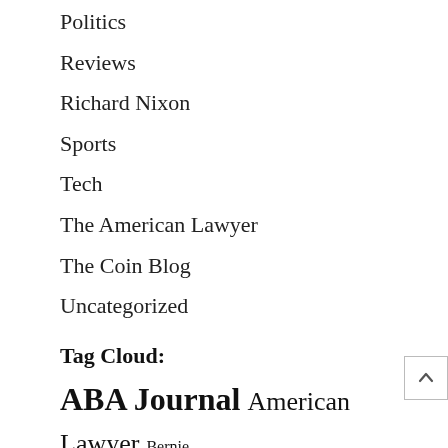Politics
Reviews
Richard Nixon
Sports
Tech
The American Lawyer
The Coin Blog
Uncategorized
Tag Cloud:
ABA Journal  American Lawyer  Bernie  business  Career Killers  Chelsea  Chicago  clips  coins  Columbia J-School  concept albums  history